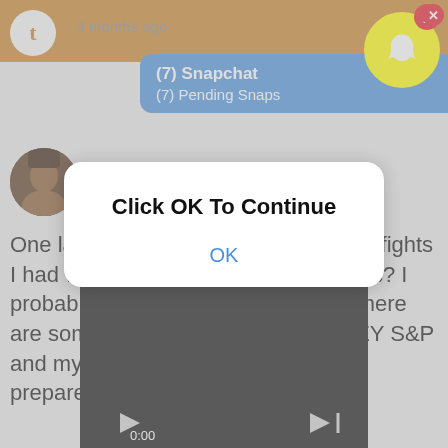[Figure (screenshot): Screenshot of a Twitter post by Alex Hirsch (@_AlexHirsch) overlaid with a Snapchat notification banner showing '(7) Snapchat / (7) Pending Snaps' and a modal dialog saying 'Click OK To Continue' with an OK button. The tweet reads: 'One last treat. Ever curious about the fights I had with the censors on Gravity Falls? I probably shouldn't share this butttttt here are some REAL NOTES from DISNEY S&P and my REAL REPLIES. You are not prepared #10YearsOfGravityFalls'. A video thumbnail is partially visible at the bottom.]